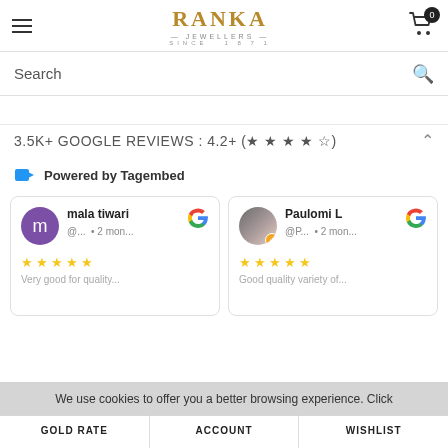RANKA JEWELLERS SINCE 1871
Search
3.5K+ GOOGLE REVIEWS : 4.2+ (★ ★ ★ ★ ☆)
Powered by Tagembed
[Figure (screenshot): Two Google review cards side by side. Left card: reviewer 'mala tiwari', handle '@...', '2 mon...', 5 stars, preview text 'Very good for quality'. Right card: reviewer 'Paulomi L', handle '@P...', '2 mon...', 5 stars, preview text 'Good quality variety of']
We use cookies to offer you a better browsing experience. Click
GOLD RATE   ACCOUNT   WISHLIST